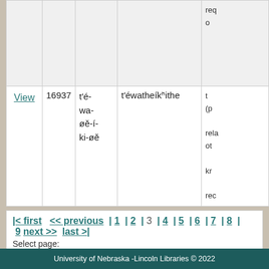|  |  |  |  |  |
| --- | --- | --- | --- | --- |
|  |  |  |  | req
o |
| View | 16937 | t'é-wa-øě-í-ki-øě | t'éwatheíkʰithe | t
(p

rela
ot

kr

rec |
|< first  << previous | 1 | 2 | 3 | 4 | 5 | 6 | 7 | 8 | 9 next >> last >|
Select page:
Page
3
University of Nebraska -Lincoln Libraries © 2022